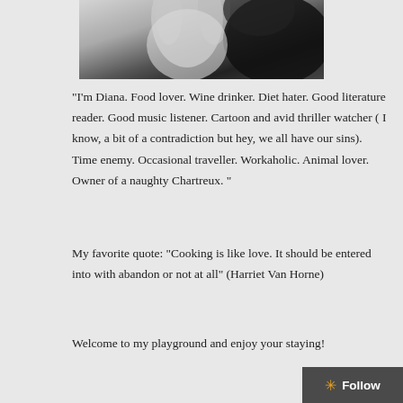[Figure (photo): Black and white close-up photo of a person's hand near their face/hair]
"I'm Diana. Food lover. Wine drinker. Diet hater. Good literature reader. Good music listener. Cartoon and avid thriller watcher ( I know, a bit of a contradiction but hey, we all have our sins). Time enemy. Occasional traveller. Workaholic. Animal lover. Owner of a naughty Chartreux. "
My favorite quote: "Cooking is like love. It should be entered into with abandon or not at all" (Harriet Van Horne)
Welcome to my playground and enjoy your staying!